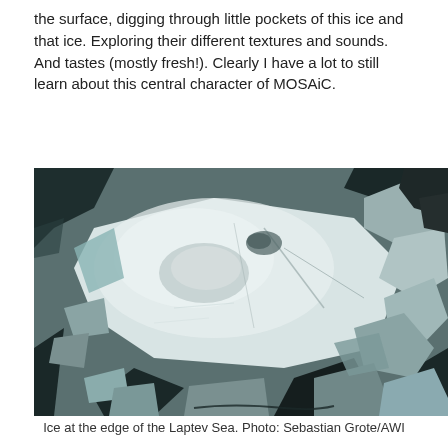the surface, digging through little pockets of this ice and that ice. Exploring their different textures and sounds. And tastes (mostly fresh!). Clearly I have a lot to still learn about this central character of MOSAiC.
[Figure (photo): Aerial or close-up black and white photograph of ice at the edge of the Laptev Sea, showing a large flat ice floe surrounded by broken ice chunks and dark water, with varied textures of snow and ice.]
Ice at the edge of the Laptev Sea. Photo: Sebastian Grote/AWI